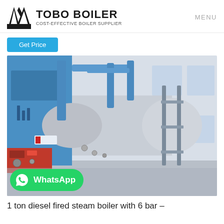TOBO BOILER — COST-EFFECTIVE BOILER SUPPLIER | MENU
Get Price
[Figure (photo): Industrial steam boiler installation showing a large cylindrical boiler tank with blue piping and support structures inside a white-walled factory building. A blue vertical unit is visible on the left side with Chinese branding.]
WhatsApp
1 ton diesel fired steam boiler with 6 bar –